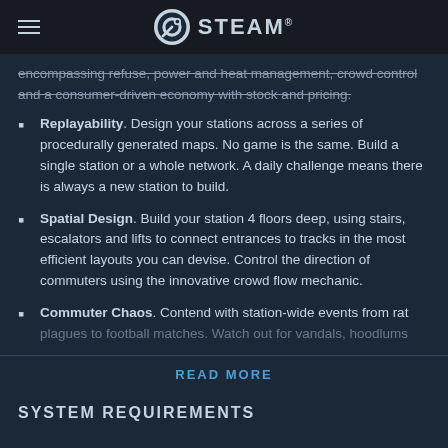STEAM
encompassing refuse, power and heat management, crowd control and a consumer-driven economy with stock and pricing.
Replayability. Design your stations across a series of procedurally generated maps. No game is the same. Build a single station or a whole network. A daily challenge means there is always a new station to build.
Spatial Design. Build your station 4 floors deep, using stairs, escalators and lifts to connect entrances to tracks in the most efficient layouts you can devise. Control the direction of commuters using the innovative crowd flow mechanic.
Commuter Chaos. Contend with station-wide events from rat plagues to football matches. Watch out for vandals, hoodlums
READ MORE
SYSTEM REQUIREMENTS